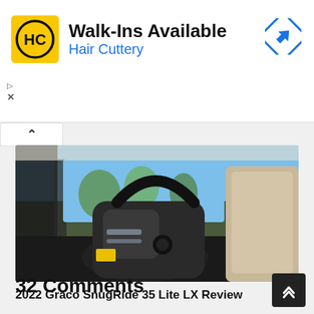[Figure (infographic): Hair Cuttery advertisement banner: yellow square HC logo, bold text 'Walk-Ins Available', blue text 'Hair Cuttery', blue diamond navigation icon top right]
[Figure (photo): Photo of a Graco SnugRide 35 Lite LX infant car seat installed in the back seat of a car, viewed from the side, with trees and blue sky visible through car window]
2022 Graco SnugRide 35 Lite LX Review
32 Comments